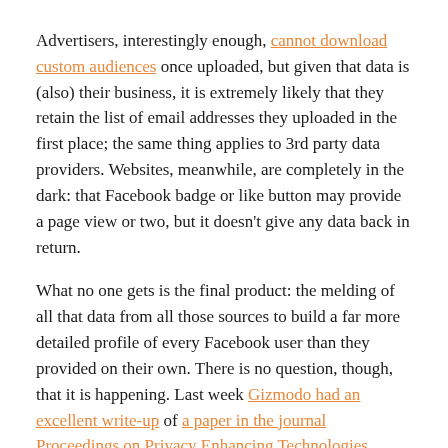Advertisers, interestingly enough, cannot download custom audiences once uploaded, but given that data is (also) their business, it is extremely likely that they retain the list of email addresses they uploaded in the first place; the same thing applies to 3rd party data providers. Websites, meanwhile, are completely in the dark: that Facebook badge or like button may provide a page view or two, but it doesn't give any data back in return.
What no one gets is the final product: the melding of all that data from all those sources to build a far more detailed profile of every Facebook user than they provided on their own. There is no question, though, that it is happening. Last week Gizmodo had an excellent write-up of a paper in the journal Proceedings on Privacy Enhancing Technologies detailing how Facebook users could be targeted for ads with a whole host of information that was never provided by the user, including landline numbers, unpublished email addresses, and phone numbers provided for two-factor